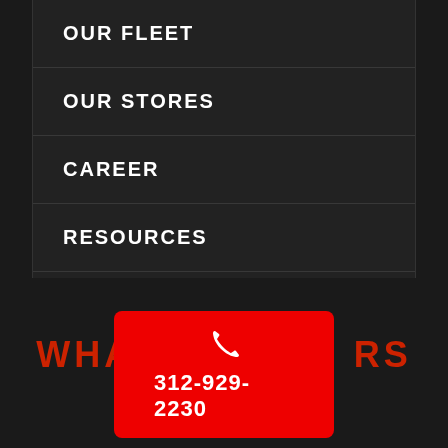OUR FLEET
OUR STORES
CAREER
RESOURCES
TERMS AND CONDITIONS
WHAT OUR CUSTOMERS SAY
312-929-2230